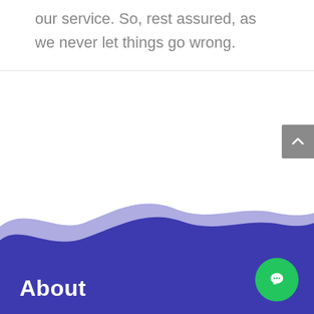our service. So, rest assured, as we never let things go wrong.
[Figure (illustration): Decorative wave illustration in purple/blue colors forming the footer background, with two wave layers (lighter purple on top, dark indigo/blue below).]
About